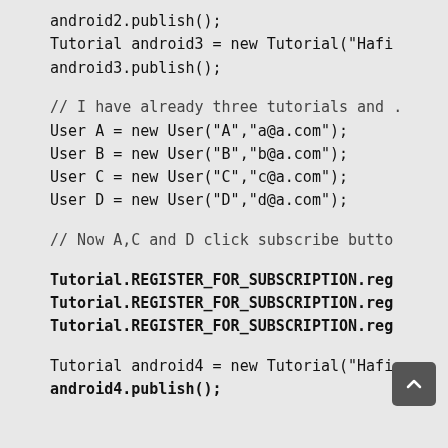android2.publish();
Tutorial android3 = new Tutorial("Hafi...
android3.publish();
// I have already three tutorials and ...
User A = new User("A","a@a.com");
User B = new User("B","b@a.com");
User C = new User("C","c@a.com");
User D = new User("D","d@a.com");
// Now A,C and D click subscribe butto...
Tutorial.REGISTER_FOR_SUBSCRIPTION.reg...
Tutorial.REGISTER_FOR_SUBSCRIPTION.reg...
Tutorial.REGISTER_FOR_SUBSCRIPTION.reg...
Tutorial android4 = new Tutorial("Hafi...
android4.publish();